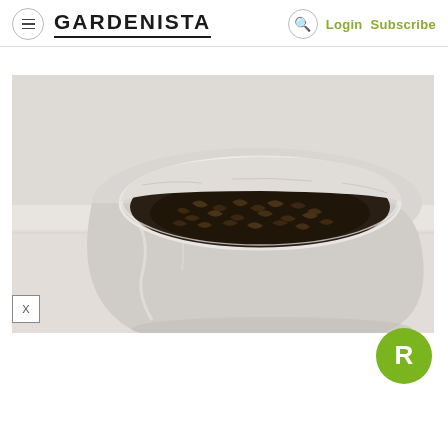GARDENISTA — Login Subscribe
[Figure (photo): A white marble mortar bowl containing dried herbs/tea leaves, photographed from above at an angle against a light gray background.]